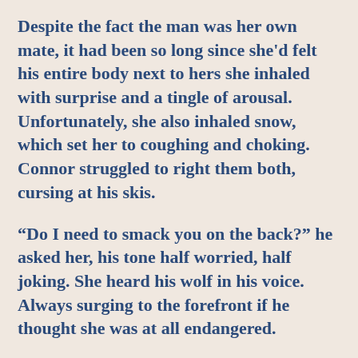Despite the fact the man was her own mate, it had been so long since she'd felt his entire body next to hers she inhaled with surprise and a tingle of arousal. Unfortunately, she also inhaled snow, which set her to coughing and choking. Connor struggled to right them both, cursing at his skis.
“Do I need to smack you on the back?” he asked her, his tone half worried, half joking. She heard his wolf in his voice. Always surging to the forefront if he thought she was at all endangered.
“No,” she wheezed, well aware they were giving the bystanders a show. Especially since she was still tangled up with him. After Lia finally managed to breathe normally again, much to Connor’s relief, they stood up. She waved off the vocal worries of the distraught